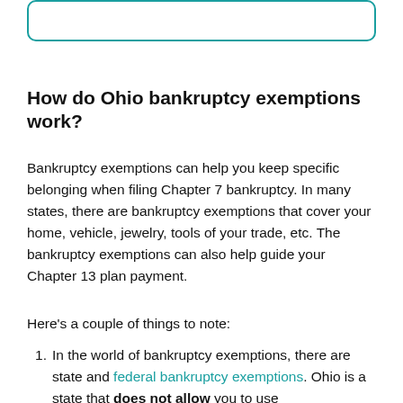[Figure (other): Teal-bordered rounded rectangle input box at top of page]
How do Ohio bankruptcy exemptions work?
Bankruptcy exemptions can help you keep specific belonging when filing Chapter 7 bankruptcy. In many states, there are bankruptcy exemptions that cover your home, vehicle, jewelry, tools of your trade, etc. The bankruptcy exemptions can also help guide your Chapter 13 plan payment.
Here's a couple of things to note:
In the world of bankruptcy exemptions, there are state and federal bankruptcy exemptions. Ohio is a state that does not allow you to use